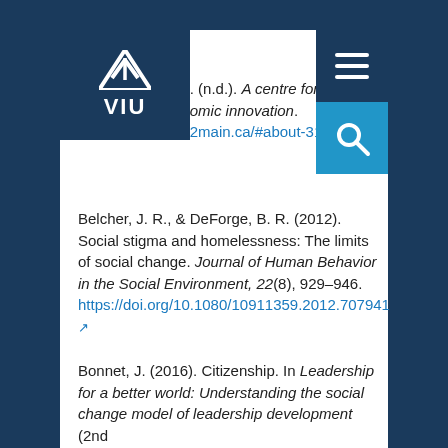[Figure (logo): VIU (Vancouver Island University) logo — dark navy blue square with white stylized arrow/chevron icon above the text 'VIU']
[Figure (other): Hamburger menu icon (three horizontal white lines on dark navy background) in top-right corner]
[Figure (other): Search icon (magnifying glass in white on blue background) on right side]
312 Main. (n.d.). A centre for social and economic innovation. https://312main.ca/#about-312
Belcher, J. R., & DeForge, B. R. (2012). Social stigma and homelessness: The limits of social change. Journal of Human Behavior in the Social Environment, 22(8), 929–946. https://doi.org/10.1080/10911359.2012.707941
Bonnet, J. (2016). Citizenship. In Leadership for a better world: Understanding the social change model of leadership development (2nd